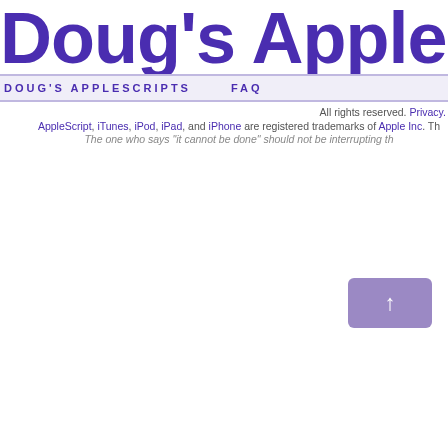Doug's AppleScript
DOUG'S APPLESCRIPTS   FAQ
All rights reserved. Privacy. AppleScript, iTunes, iPod, iPad, and iPhone are registered trademarks of Apple Inc. Th... The one who says "it cannot be done" should not be interrupting th...